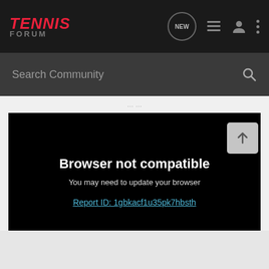[Figure (screenshot): Tennis Forum website navigation bar with logo, NEW bubble icon, list icon, user icon, and more icon on dark background]
Search Community
Browser not compatible
You may need to update your browser
Report ID: 1gbkacf1u35pk7hbsth